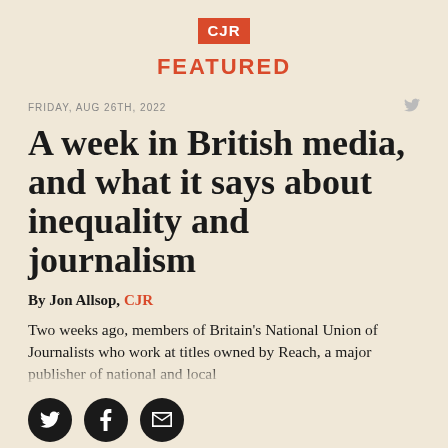[Figure (logo): CJR logo — white letters on red background]
FEATURED
FRIDAY, AUG 26TH, 2022
A week in British media, and what it says about inequality and journalism
By Jon Allsop, CJR
Two weeks ago, members of Britain's National Union of Journalists who work at titles owned by Reach, a major publisher of national and local
[Figure (infographic): Three black circular social share buttons: Twitter bird icon, Facebook f icon, and email envelope icon]